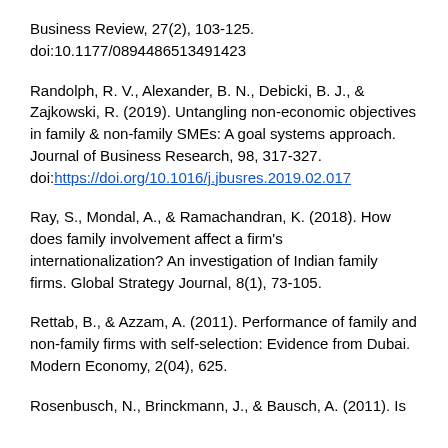Business Review, 27(2), 103-125. doi:10.1177/0894486513491423
Randolph, R. V., Alexander, B. N., Debicki, B. J., & Zajkowski, R. (2019). Untangling non-economic objectives in family & non-family SMEs: A goal systems approach. Journal of Business Research, 98, 317-327. doi:https://doi.org/10.1016/j.jbusres.2019.02.017
Ray, S., Mondal, A., & Ramachandran, K. (2018). How does family involvement affect a firm's internationalization? An investigation of Indian family firms. Global Strategy Journal, 8(1), 73-105.
Rettab, B., & Azzam, A. (2011). Performance of family and non-family firms with self-selection: Evidence from Dubai. Modern Economy, 2(04), 625.
Rosenbusch, N., Brinckmann, J., & Bausch, A. (2011). Is